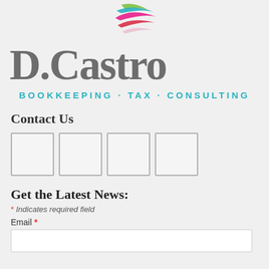[Figure (logo): D.Castro Bookkeeping Tax Consulting logo with colorful swoosh/globe icon in green, teal, pink, and red stripes at top, large gray serif 'D.Castro' text, and teal 'BOOKKEEPING · TAX · CONSULTING' tagline]
Contact Us
[Figure (other): Four empty square icon boxes in a row, representing social media or contact icons]
Get the Latest News:
* Indicates required field
Email *
[Figure (other): Empty email input text field]